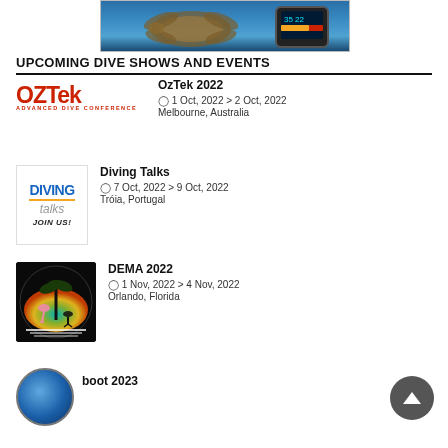[Figure (photo): Underwater photo showing a sea turtle near coral reef with a dive computer watch overlay]
UPCOMING DIVE SHOWS AND EVENTS
[Figure (logo): OZTek Advanced Dive Conference logo in red text]
OzTek 2022
⊙ 1 Oct, 2022 > 2 Oct, 2022
Melbourne, Australia
[Figure (logo): Diving Talks JOIN US! logo with blue DIVING text]
Diving Talks
⊙ 7 Oct, 2022 > 9 Oct, 2022
Tróia, Portugal
[Figure (photo): DEMA 2022 logo with tropical silhouette scene on dark background]
DEMA 2022
⊙ 1 Nov, 2022 > 4 Nov, 2022
Orlando, Florida
[Figure (logo): boot 2023 circular blue logo]
boot 2023